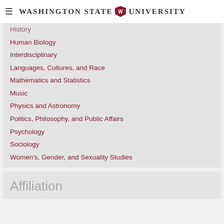Washington State University
History
Human Biology
Interdisciplinary
Languages, Cultures, and Race
Mathematics and Statistics
Music
Physics and Astronomy
Politics, Philosophy, and Public Affairs
Psychology
Sociology
Women's, Gender, and Sexuality Studies
Affiliation